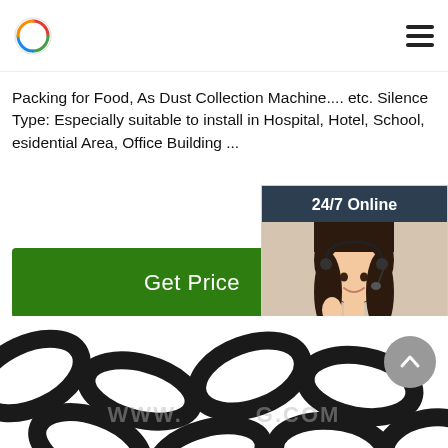Logo and navigation header
Packing for Food, As Dust Collection Machine.... etc. Silence Type: Especially suitable to install in Hospital, Hotel, School, esidential Area, Office Building ...
[Figure (other): Green 'Get Price' button]
[Figure (other): 24/7 Online chat widget with customer service agent photo, 'Click here for free chat!' text, and orange QUOTATION button]
[Figure (photo): Close-up photo of black metal chain links on white background]
WWW.[...]G.COM watermark text